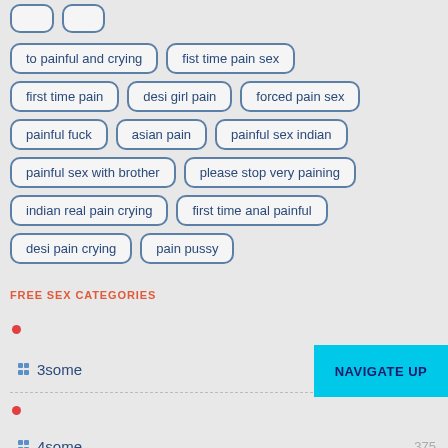to painful and crying
fist time pain sex
first time pain
desi girl pain
forced pain sex
painful fuck
asian pain
painful sex indian
painful sex with brother
please stop very paining
indian real pain crying
first time anal painful
desi pain crying
pain pussy
FREE SEX CATEGORIES
3some
4some  375
BF china  685